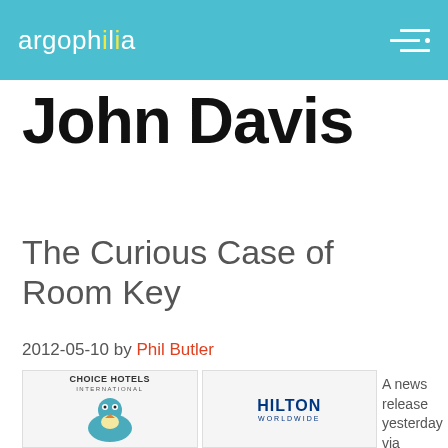argophilia
John Davis
The Curious Case of Room Key
2012-05-10 by Phil Butler
[Figure (illustration): Choice Hotels International and Hilton Worldwide logos with a cartoon bird illustration]
A news release yesterday via